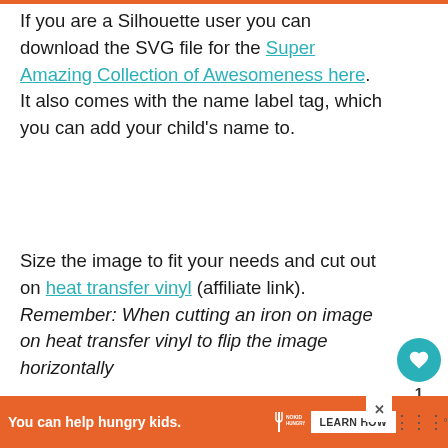If you are a Silhouette user you can download the SVG file for the Super Amazing Collection of Awesomeness here. It also comes with the name label tag, which you can add your child's name to.
Size the image to fit your needs and cut out on heat transfer vinyl (affiliate link). Remember: When cutting an iron on image on heat transfer vinyl to flip the image horizontally
This website uses cookies to improve your experience. You can choose to opt-out if you wish.
Read More
[Figure (screenshot): WHAT'S NEXT card showing Seashell Collection Bag with thumbnail image]
[Figure (screenshot): Advertisement banner: You can help hungry kids. No Kid Hungry. Learn How button.]